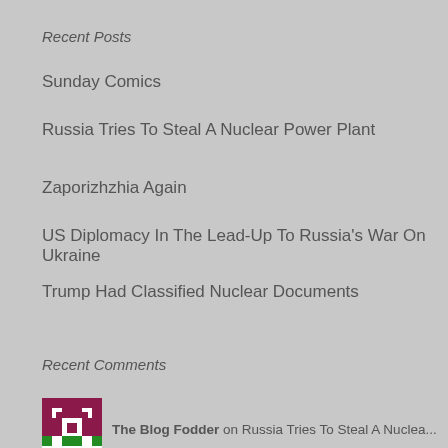Recent Posts
Sunday Comics
Russia Tries To Steal A Nuclear Power Plant Zaporizhzhia Again
US Diplomacy In The Lead-Up To Russia's War On Ukraine
Trump Had Classified Nuclear Documents
Recent Comments
The Blog Fodder on Russia Tries To Steal A Nuclea...